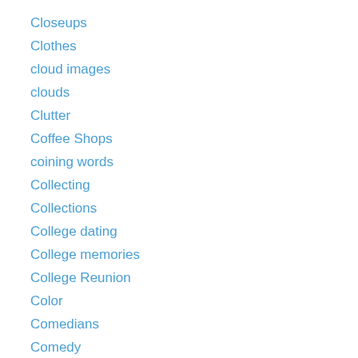Closeups
Clothes
cloud images
clouds
Clutter
Coffee Shops
coining words
Collecting
Collections
College dating
College memories
College Reunion
Color
Comedians
Comedy
Commercial and Industrail Buildings
Competition
Compositions
Compulsions
Computer